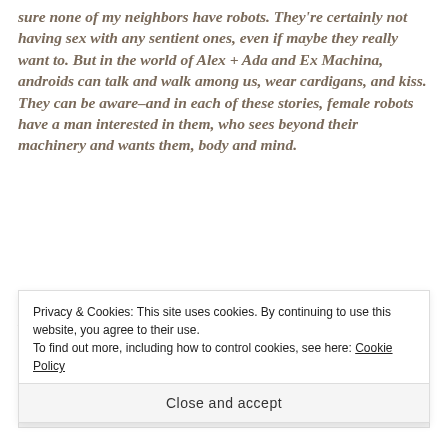sure none of my neighbors have robots. They're certainly not having sex with any sentient ones, even if maybe they really want to. But in the world of Alex + Ada and Ex Machina, androids can talk and walk among us, wear cardigans, and kiss. They can be aware–and in each of these stories, female robots have a man interested in them, who sees beyond their machinery and wants them, body and mind.
But the question is, Do the robot women want them?
[Figure (other): Partial ad bar with GET THE APP text and WordPress logo]
Privacy & Cookies: This site uses cookies. By continuing to use this website, you agree to their use.
To find out more, including how to control cookies, see here: Cookie Policy
Close and accept